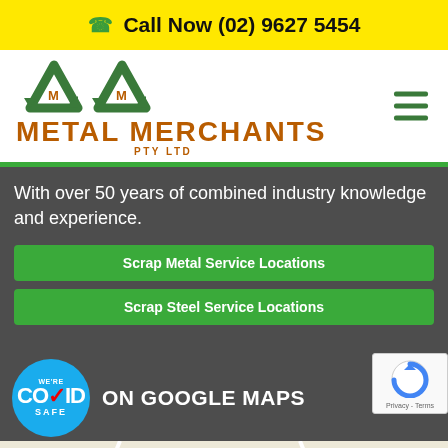Call Now (02) 9627 5454
[Figure (logo): Metal Merchants PTY LTD logo with two green recycling triangle arrows and orange text]
With over 50 years of combined industry knowledge and experience.
Scrap Metal Service Locations
Scrap Steel Service Locations
[Figure (logo): COVID SAFE badge - circular blue badge with WE'RE COVID SAFE text and checkmark]
ON GOOGLE MAPS
[Figure (map): Google Maps partial view showing street names]
[Figure (other): Google reCAPTCHA badge with Privacy - Terms text]
Request A Free Quote